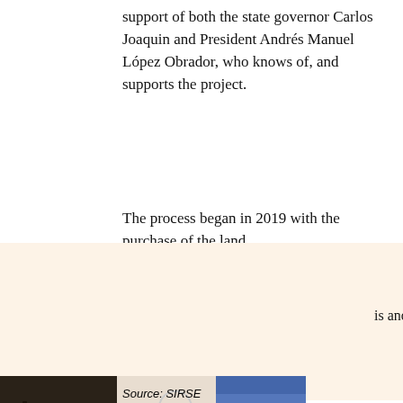support of both the state governor Carlos Joaquin and President Andrés Manuel López Obrador, who knows of, and supports the project.
The process began in 2019 with the purchase of the land
[Figure (screenshot): Advertisement overlay for 'Stay & Play with Us' from Brinkwater hotel, showing a hotel room image with a bed, the word STAY in large white letters, and an Open/Book Now button bar at the bottom in dark brown.]
is another
ld lay the ent as early they nd come in SD.
Source: SIRSE